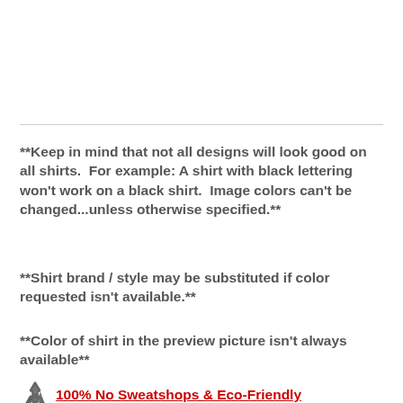**Keep in mind that not all designs will look good on all shirts.  For example: A shirt with black lettering won't work on a black shirt.  Image colors can't be changed...unless otherwise specified.**
**Shirt brand / style may be substituted if color requested isn't available.**
**Color of shirt in the preview picture isn't always available**
100% No Sweatshops & Eco-Friendly